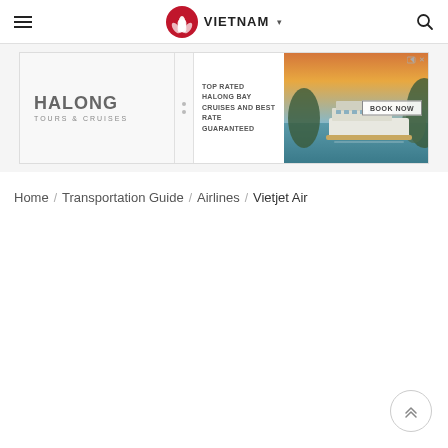≡ VIETNAM ▾ 🔍
[Figure (infographic): Halong Tours & Cruises advertisement banner. Left section shows 'HALONG TOURS & CRUISES' branding. Middle section text: 'TOP RATED HALONG BAY CRUISES AND BEST RATE GUARANTEED'. Right section shows a cruise ship photo on Halong Bay at sunset. 'BOOK NOW' button on right side.]
Home / Transportation Guide / Airlines / Vietjet Air